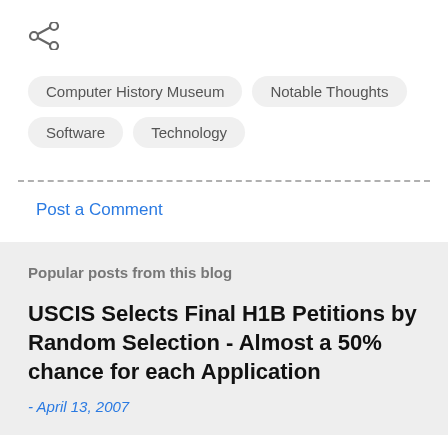[Figure (other): Share icon (three-dot network/share symbol) in gray]
Computer History Museum
Notable Thoughts
Software
Technology
Post a Comment
Popular posts from this blog
USCIS Selects Final H1B Petitions by Random Selection - Almost a 50% chance for each Application
- April 13, 2007